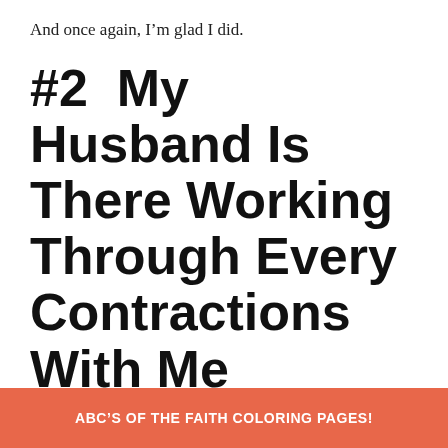And once again, I'm glad I did.
#2  My Husband Is There Working Through Every Contractions With Me
Going through unmediated labor and delivery with your spouse is like going on a
ABC'S OF THE FAITH COLORING PAGES!